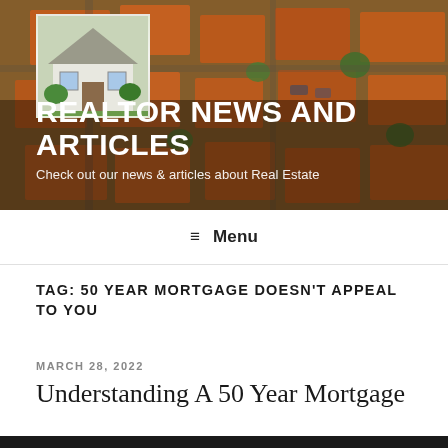[Figure (photo): Aerial view of neighborhood rooftops with orange/red tile roofs and trees, overlaid with a smaller inset image of a white house with green foliage. Header banner for Realtor News and Articles blog.]
REALTOR NEWS AND ARTICLES
Check out our news & articles about Real Estate
≡ Menu
TAG: 50 YEAR MORTGAGE DOESN'T APPEAL TO YOU
MARCH 28, 2022
Understanding A 50 Year Mortgage